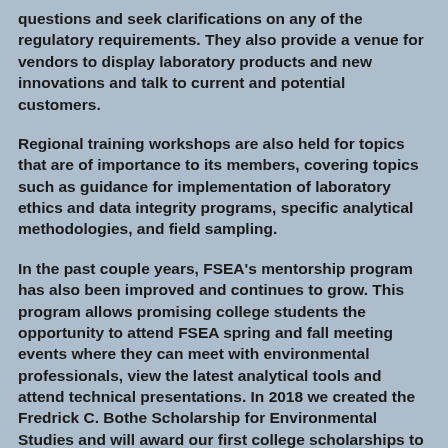questions and seek clarifications on any of the regulatory requirements. They also provide a venue for vendors to display laboratory products and new innovations and talk to current and potential customers.
Regional training workshops are also held for topics that are of importance to its members, covering topics such as guidance for implementation of laboratory ethics and data integrity programs, specific analytical methodologies, and field sampling.
In the past couple years, FSEA's mentorship program has also been improved and continues to grow. This program allows promising college students the opportunity to attend FSEA spring and fall meeting events where they can meet with environmental professionals, view the latest analytical tools and attend technical presentations. In 2018 we created the Fredrick C. Bothe Scholarship for Environmental Studies and will award our first college scholarships to 2 deserving students in the Fall of 2019.